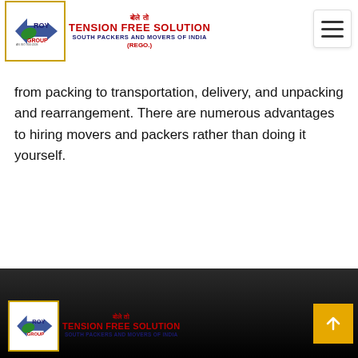बोले तो TENSION FREE SOLUTION SOUTH PACKERS AND MOVERS OF INDIA (REGO.)
from packing to transportation, delivery, and unpacking and rearrangement. There are numerous advantages to hiring movers and packers rather than doing it yourself.
Roy Group - बोले तो TENSION FREE SOLUTION SOUTH PACKERS AND MOVERS OF INDIA